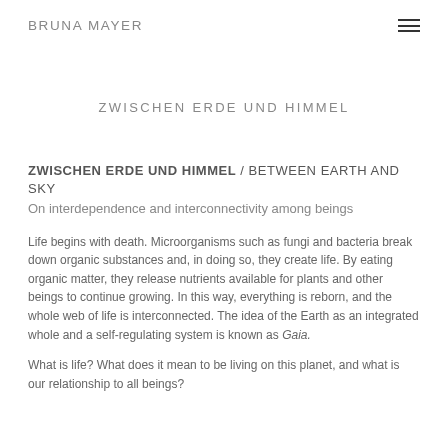BRUNA MAYER
ZWISCHEN ERDE UND HIMMEL
ZWISCHEN ERDE UND HIMMEL / BETWEEN EARTH AND SKY
On interdependence and interconnectivity among beings
Life begins with death. Microorganisms such as fungi and bacteria break down organic substances and, in doing so, they create life. By eating organic matter, they release nutrients available for plants and other beings to continue growing. In this way, everything is reborn, and the whole web of life is interconnected. The idea of the Earth as an integrated whole and a self-regulating system is known as Gaia.
What is life? What does it mean to be living on this planet, and what is our relationship to all beings?